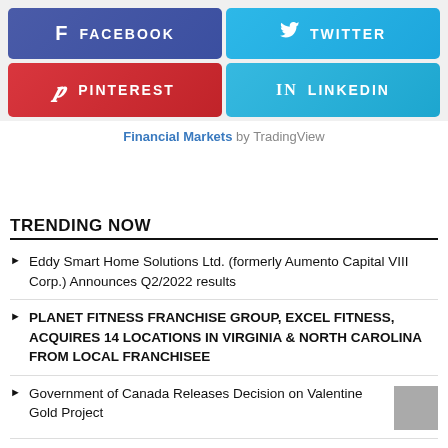[Figure (infographic): Social media share buttons: Facebook (blue-purple), Twitter (light blue), Pinterest (red), LinkedIn (light blue)]
Financial Markets by TradingView
TRENDING NOW
Eddy Smart Home Solutions Ltd. (formerly Aumento Capital VIII Corp.) Announces Q2/2022 results
PLANET FITNESS FRANCHISE GROUP, EXCEL FITNESS, ACQUIRES 14 LOCATIONS IN VIRGINIA & NORTH CAROLINA FROM LOCAL FRANCHISEE
Government of Canada Releases Decision on Valentine Gold Project